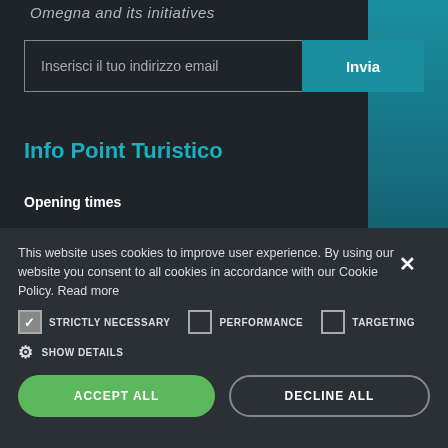Omegna and its initiatives
Inserisci il tuo indirizzo email
Info Point Turistico
Opening times
This website uses cookies to improve user experience. By using our website you consent to all cookies in accordance with our Cookie Policy. Read more
STRICTLY NECESSARY
PERFORMANCE
TARGETING
SHOW DETAILS
ACCEPT ALL
DECLINE ALL